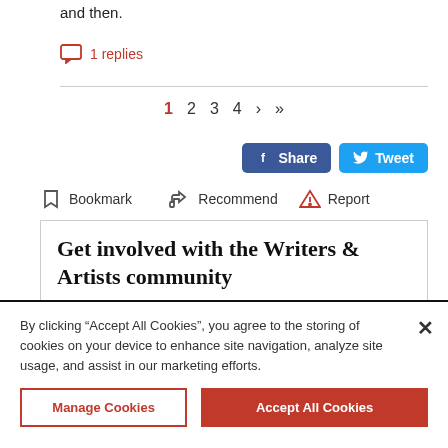and then.
1 replies
1  2  3  4  ›  »
Share  Tweet
Bookmark  Recommend  Report
Get involved with the Writers & Artists community
By clicking “Accept All Cookies”, you agree to the storing of cookies on your device to enhance site navigation, analyze site usage, and assist in our marketing efforts.
Manage Cookies  Accept All Cookies